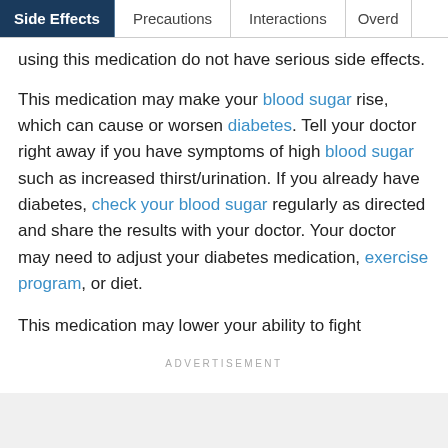Side Effects | Precautions | Interactions | Overd…
using this medication do not have serious side effects.
This medication may make your blood sugar rise, which can cause or worsen diabetes. Tell your doctor right away if you have symptoms of high blood sugar such as increased thirst/urination. If you already have diabetes, check your blood sugar regularly as directed and share the results with your doctor. Your doctor may need to adjust your diabetes medication, exercise program, or diet.
This medication may lower your ability to fight
ADVERTISEMENT